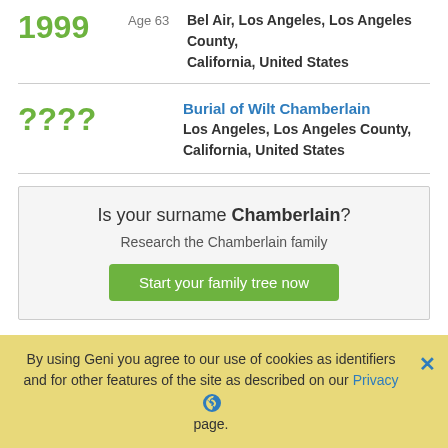1999  Age 63  Bel Air, Los Angeles, Los Angeles County, California, United States
????  Burial of Wilt Chamberlain  Los Angeles, Los Angeles County, California, United States
Is your surname Chamberlain? Research the Chamberlain family  Start your family tree now
Wilt Chamberlain's Geni Profile
Contact profile manager
View family tree
Problem with this page?
By using Geni you agree to our use of cookies as identifiers and for other features of the site as described on our Privacy page.